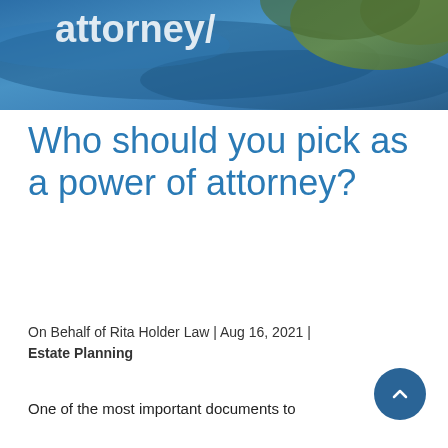[Figure (photo): Aerial/overhead nature photo with blue water and green foliage, partially visible at top of page with white text overlay partially visible reading 'attorney']
Who should you pick as a power of attorney?
On Behalf of Rita Holder Law | Aug 16, 2021 | Estate Planning
One of the most important documents to